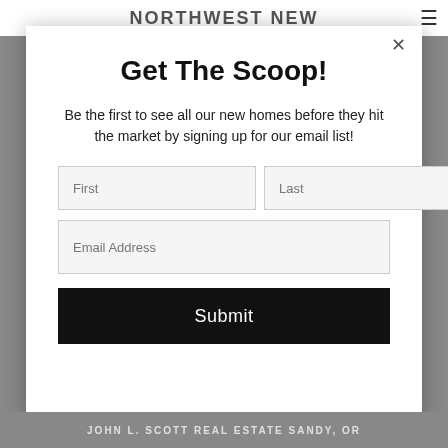NORTHWEST NEW
[Figure (screenshot): Modal popup overlay with email signup form on a real estate website. Contains title 'Get The Scoop!', descriptive text, First/Last name fields, Email Address field, and a Submit button. A close (×) button appears in the top right of the modal.]
Get The Scoop!
Be the first to see all our new homes before they hit the market by signing up for our email list!
JOHN L. SCOTT REAL ESTATE SANDY, OR